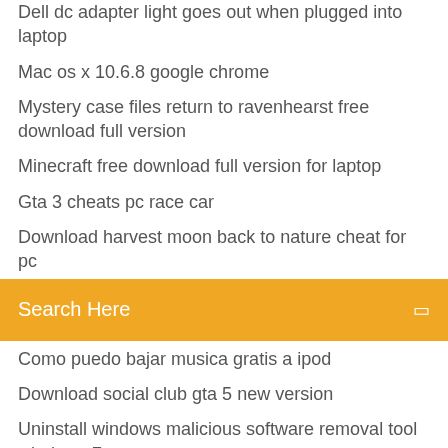Dell dc adapter light goes out when plugged into laptop
Mac os x 10.6.8 google chrome
Mystery case files return to ravenhearst free download full version
Minecraft free download full version for laptop
Gta 3 cheats pc race car
Download harvest moon back to nature cheat for pc
Search Here
Como puedo bajar musica gratis a ipod
Download social club gta 5 new version
Uninstall windows malicious software removal tool windows 7
How to enable command prompt at school
How to login in windows xp forgot password
Msi geforce rtx 2070 super gaming x trio 8g graphics card
Pub to pdf converter free online
Como recuperar archivos eliminados de disco duro
Olvide la contraseña de mi correo electronico gmail